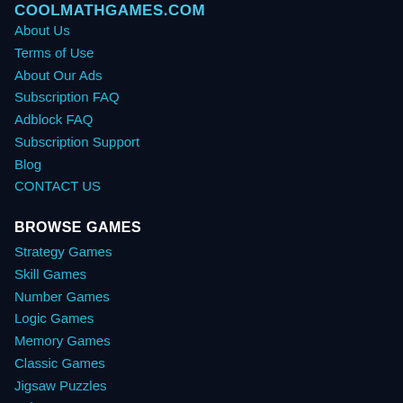COOLMATHGAMES.COM
About Us
Terms of Use
About Our Ads
Subscription FAQ
Adblock FAQ
Subscription Support
Blog
CONTACT US
BROWSE GAMES
Strategy Games
Skill Games
Number Games
Logic Games
Memory Games
Classic Games
Jigsaw Puzzles
Science Games
Geography Games
COOLMATH.COM
Pre-Algebra Lessons